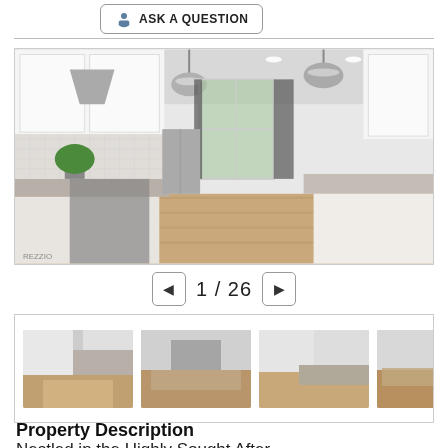ASK A QUESTION
[Figure (photo): Interior kitchen photo showing white cabinets, marble countertops, pendant lights, stainless steel appliances, hardwood floors, and a long kitchen island.]
1 / 26
[Figure (photo): Thumbnail strip showing four small kitchen interior photos.]
Property Description
Nestled in the Highly Sought After